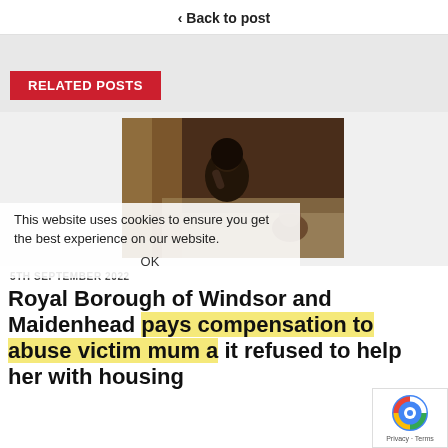< Back to post
RELATED POSTS
[Figure (photo): A distressed woman sitting with her head in her hand, and a baby crawling on a bed behind her, in a dimly lit room.]
This website uses cookies to ensure you get the best experience on our website.
OK
5TH SEPTEMBER 2022
Royal Borough of Windsor and Maidenhead pays compensation to abuse victim mum a it refused to help her with housing